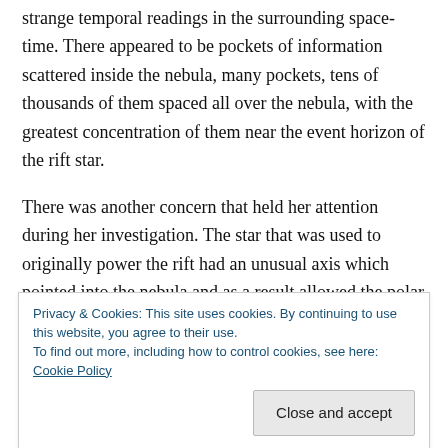strange temporal readings in the surrounding space-time. There appeared to be pockets of information scattered inside the nebula, many pockets, tens of thousands of them spaced all over the nebula, with the greatest concentration of them near the event horizon of the rift star.
There was another concern that held her attention during her investigation. The star that was used to originally power the rift had an unusual axis which pointed into the nebula and as a result allowed the polar jet to be directed at the primary Precursor station. This meant the world
Privacy & Cookies: This site uses cookies. By continuing to use this website, you agree to their use.
To find out more, including how to control cookies, see here: Cookie Policy
polar jet. The polar jet would not be serious problem as